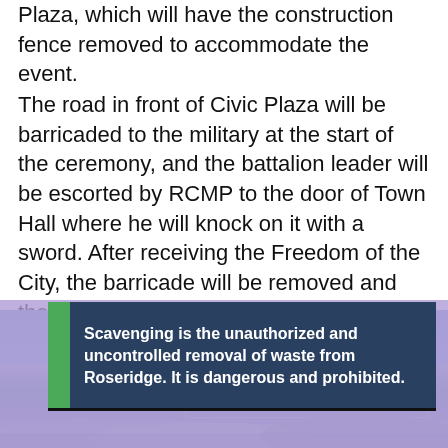Plaza, which will have the construction fence removed to accommodate the event.
The road in front of Civic Plaza will be barricaded to the military at the start of the ceremony, and the battalion leader will be escorted by RCMP to the door of Town Hall where he will knock on it with a sword. After receiving the Freedom of the City, the barricade will be removed and the troops will pass through, stopping to be inspected by the mayor.
[Figure (photo): A lavender/purple cookie consent overlay partially visible, overlapping with a waste management banner and a photograph of a landfill/waste site with machinery.]
Scavenging is the unauthorized and uncontrolled removal of waste from Roseridge. It is dangerous and prohibited.